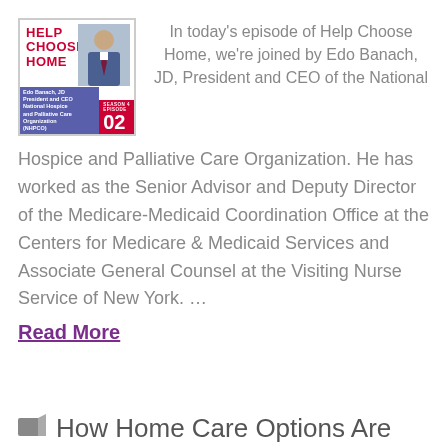[Figure (illustration): Help Choose Home podcast cover art, Season 4 Episode 02, featuring Edo Banach JD, President and CEO of National Hospice and Palliative Care Organization]
In today's episode of Help Choose Home, we're joined by Edo Banach, JD, President and CEO of the National Hospice and Palliative Care Organization. He has worked as the Senior Advisor and Deputy Director of the Medicare-Medicaid Coordination Office at the Centers for Medicare & Medicaid Services and Associate General Counsel at the Visiting Nurse Service of New York. …
Read More
How Home Care Options Are